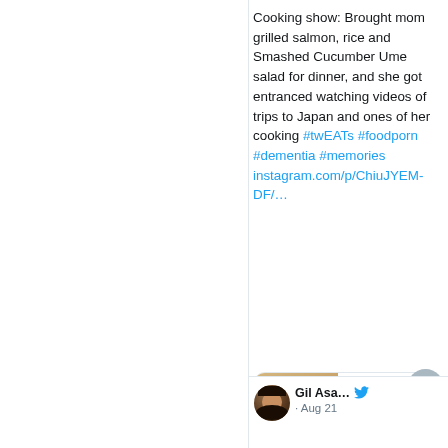Cooking show: Brought mom grilled salmon, rice and Smashed Cucumber Ume salad for dinner, and she got entranced watching videos of trips to Japan and ones of her cooking #twEATs #foodporn #dementia #memories instagram.com/p/ChiuJYEM-DF/…
[Figure (photo): Instagram link preview card showing a photo of a laptop, red cup, and bowl of food on a table. Card shows 'insta…' domain and 'Gil Asak…' title.]
Gil Asa…
· Aug 21